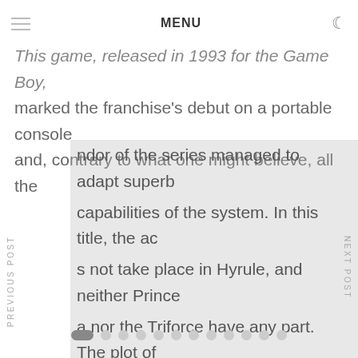MENU
This game, released in 1993 for the Game Boy, marked the franchise's debut on a portable console and, contrary to what one might believe, all the ndor of the series managed to adapt superb capabilities of the system. In this title, the ac s not take place in Hyrule, and neither Prince a nor the Triforce have any part. The plot of nture shows us Link waking up on an island
[Figure (screenshot): Casino slot machine image showing jackpot slots with neon lighting]
Vegas x | All you need to know about it